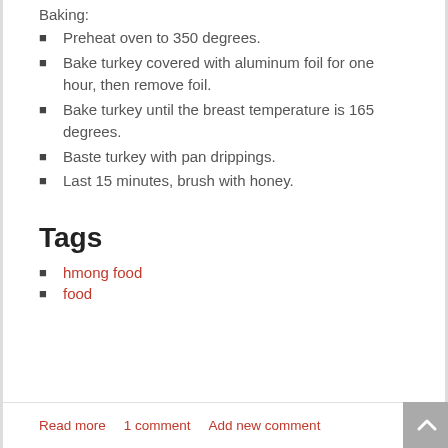Baking:
Preheat oven to 350 degrees.
Bake turkey covered with aluminum foil for one hour, then remove foil.
Bake turkey until the breast temperature is 165 degrees.
Baste turkey with pan drippings.
Last 15 minutes, brush with honey.
Tags
hmong food
food
Read more   1 comment   Add new comment